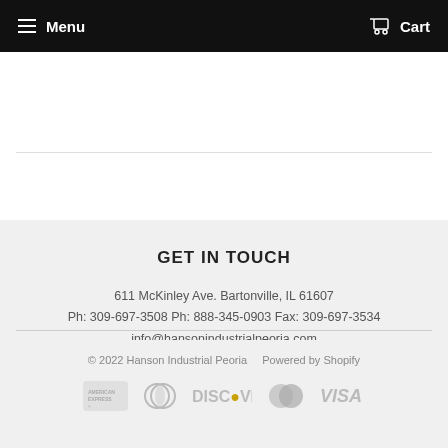Menu   Cart
GET IN TOUCH
611 McKinley Ave. Bartonville, IL 61607
Ph: 309-697-3508 Ph: 888-345-0903 Fax: 309-697-3534
info@hansonindustrialpeoria.com
© 2022 Hanson Industrial Peoria   Powered by Shopify